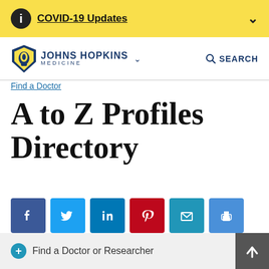COVID-19 Updates
[Figure (logo): Johns Hopkins Medicine logo with shield icon, name and MEDICINE subtitle]
Find a Doctor
A to Z Profiles Directory
[Figure (infographic): Social sharing icons: Facebook, Twitter, LinkedIn, Pinterest, Email, Print]
Find a Doctor or Researcher